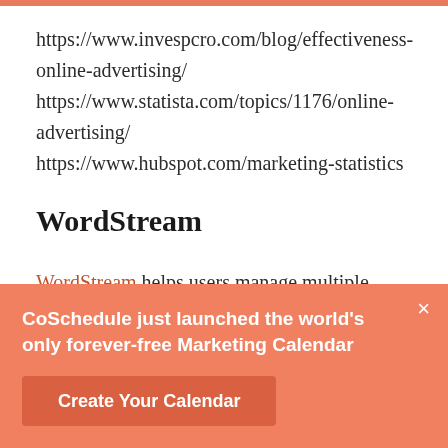https://www.invespcro.com/blog/effectiveness-online-advertising/ https://www.statista.com/topics/1176/online-advertising/ https://www.hubspot.com/marketing-statistics
WordStream
WordStream helps users manage multiple online advertising channels including Facebook, Google,
CoSchedule just launched the world's only forever-free Marketing Calendar
Create Your Calendar